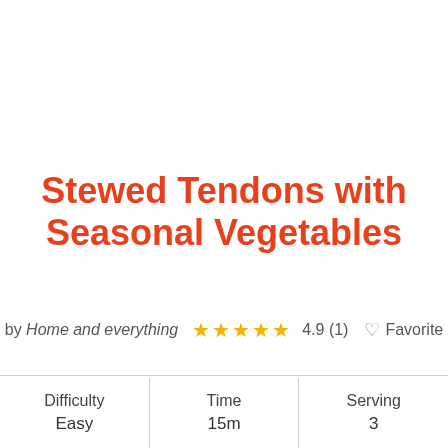Stewed Tendons with Seasonal Vegetables
by Home and everything  ★★★★★  4.9 (1)  ♡ Favorite
| Difficulty | Time | Serving |
| --- | --- | --- |
| Easy | 15m | 3 |